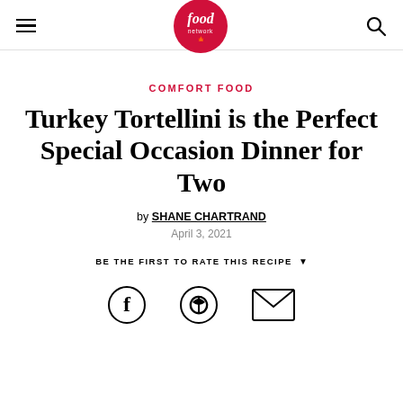Food Network Canada (logo, menu, search)
COMFORT FOOD
Turkey Tortellini is the Perfect Special Occasion Dinner for Two
by SHANE CHARTRAND
April 3, 2021
BE THE FIRST TO RATE THIS RECIPE
[Figure (other): Social sharing icons: Facebook, Pinterest, Email]